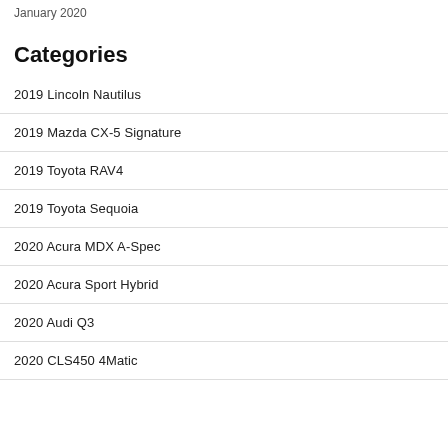January 2020
Categories
2019 Lincoln Nautilus
2019 Mazda CX-5 Signature
2019 Toyota RAV4
2019 Toyota Sequoia
2020 Acura MDX A-Spec
2020 Acura Sport Hybrid
2020 Audi Q3
2020 CLS450 4Matic